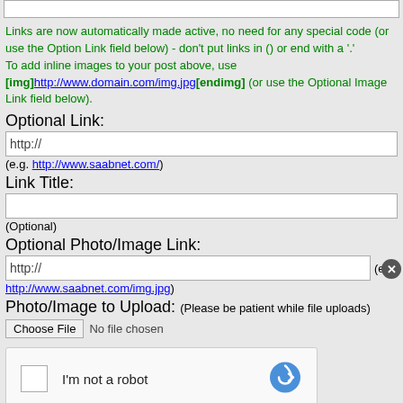Links are now automatically made active, no need for any special code (or use the Option Link field below) - don't put links in () or end with a '.' To add inline images to your post above, use [img]http://www.domain.com/img.jpg[endimg] (or use the Optional Image Link field below).
Optional Link:
http://
(e.g. http://www.saabnet.com/)
Link Title:
(Optional)
Optional Photo/Image Link:
http:// (e.g. http://www.saabnet.com/img.jpg)
Photo/Image to Upload: (Please be patient while file uploads)
Choose File No file chosen
[Figure (screenshot): reCAPTCHA widget with checkbox and 'I'm not a robot' label and reCAPTCHA logo]